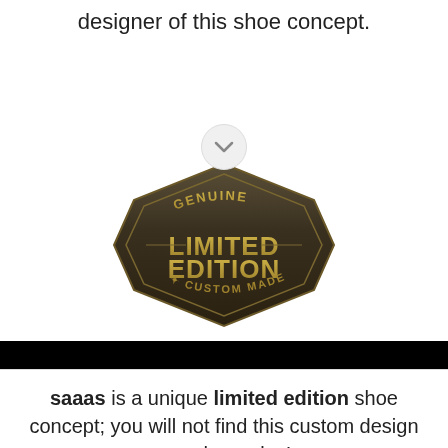designer of this shoe concept.
[Figure (logo): Genuine Limited Edition Custom Made badge - dark metallic hexagonal emblem with gold text]
saaas is a unique limited edition shoe concept; you will not find this custom design anywhere else!
[Figure (logo): Italy embroidered patch badge, partially visible at bottom of page]